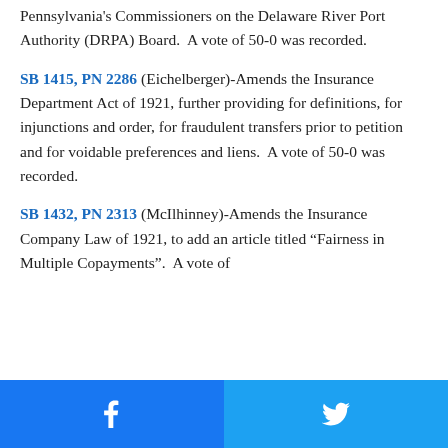Pennsylvania's Commissioners on the Delaware River Port Authority (DRPA) Board.  A vote of 50-0 was recorded.
SB 1415, PN 2286 (Eichelberger)-Amends the Insurance Department Act of 1921, further providing for definitions, for injunctions and order, for fraudulent transfers prior to petition and for voidable preferences and liens.  A vote of 50-0 was recorded.
SB 1432, PN 2313 (McIlhinney)-Amends the Insurance Company Law of 1921, to add an article titled “Fairness in Multiple Copayments”.  A vote of
[Figure (other): Social share buttons: Facebook (blue) and Twitter (blue bird icon)]